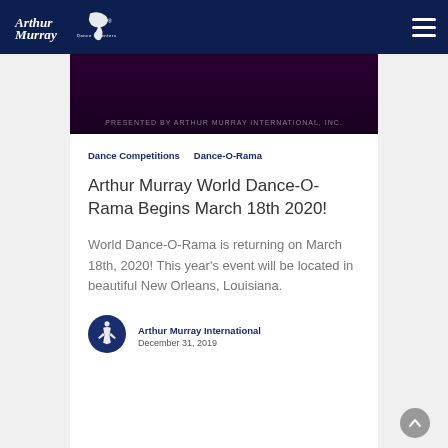Arthur Murray Dance Centers
[Figure (photo): Dark purple/maroon hero image strip with text 'PRESENTED BY ARTHUR MURRAY INTERNATIONAL, INC.']
Dance Competitions   Dance-O-Rama
Arthur Murray World Dance-O-Rama Begins March 18th 2020!
World Dance-O-Rama is returning on March 18th, 2020! This year's event will be located in beautiful New Orleans, Louisiana.
[Figure (logo): Arthur Murray International circular logo icon]
Arthur Murray International
December 31, 2019